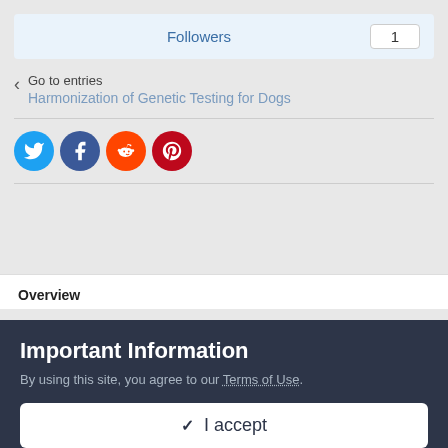Followers  1
< Go to entries
Harmonization of Genetic Testing for Dogs
[Figure (infographic): Row of four social media share icons: Twitter (blue circle with bird), Facebook (dark blue circle with f), Reddit (orange circle with alien), Pinterest (dark red circle with P)]
Overview
Important Information
By using this site, you agree to our Terms of Use.
✔ I accept